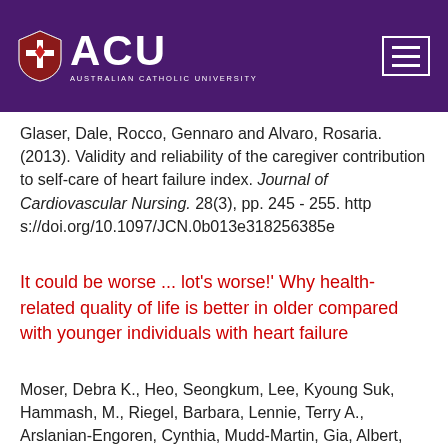ACU - Australian Catholic University
Glaser, Dale, Rocco, Gennaro and Alvaro, Rosaria. (2013). Validity and reliability of the caregiver contribution to self-care of heart failure index. Journal of Cardiovascular Nursing. 28(3), pp. 245 - 255. https://doi.org/10.1097/JCN.0b013e318256385e
It could be worse ... lot's worse!' Why health-related quality of life is better in older compared with younger individuals with heart failure
Moser, Debra K., Heo, Seongkum, Lee, Kyoung Suk, Hammash, M., Riegel, Barbara, Lennie, Terry A., Arslanian-Engoren, Cynthia, Mudd-Martin, Gia, Albert, Nancy and Watkins, John. (2013). It could be worse ... lot's worse!' Why health-related quality of